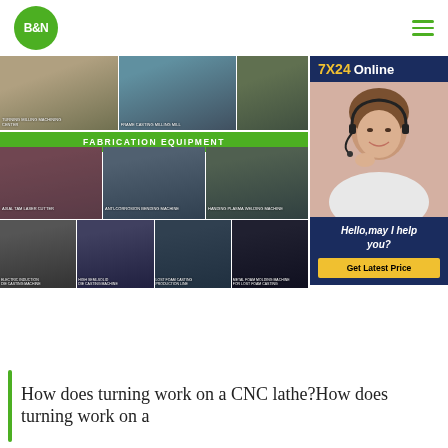[Figure (logo): B&N logo in green circle]
[Figure (photo): Factory/machining equipment photos - top row showing large CNC turning/milling machines]
FABRICATION EQUIPMENT
[Figure (photo): Grid of fabrication equipment photos including laser cutter, bending machine, plasma cutting machine, casting machines]
[Figure (photo): 7X24 Online customer service representative with headset]
Hello,may I help you?
Get Latest Price
How does turning work on a CNC lathe?How does turning work on a